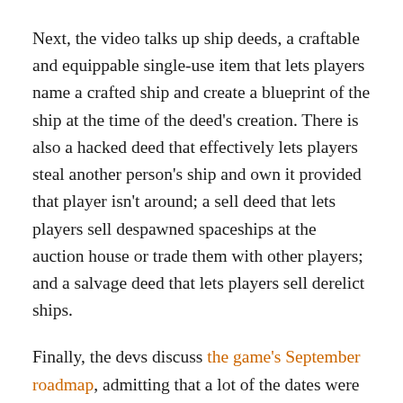Next, the video talks up ship deeds, a craftable and equippable single-use item that lets players name a crafted ship and create a blueprint of the ship at the time of the deed's creation. There is also a hacked deed that effectively lets players steal another person's ship and own it provided that player isn't around; a sell deed that lets players sell despawned spaceships at the auction house or trade them with other players; and a salvage deed that lets players sell derelict ships.
Finally, the devs discuss the game's September roadmap, admitting that a lot of the dates were "far too optimistic" and thus created expectations from players that couldn't be met. To that end, the roadmap will no longer feature dates but will instead illustrate development priorities. Players can still follow the game's progress reports for all of the minute